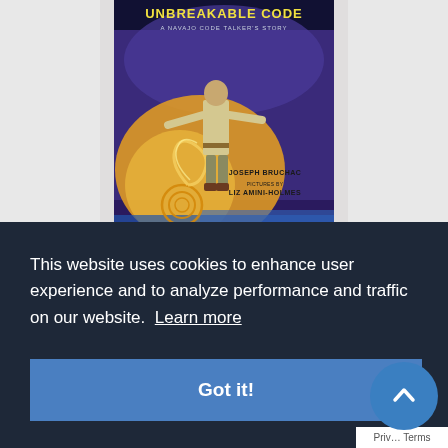[Figure (illustration): Book cover of 'Unbreakable Code: A Navajo Code Talker's Story' by Joseph Bruchac, pictures by Liz Amini-Holmes. Shows a Navajo soldier in uniform standing with arms outstretched against a purple/blue background with orange/golden swirling light and a spiral symbol on the ground.]
This website uses cookies to enhance user experience and to analyze performance and traffic on our website. Learn more
Got it!